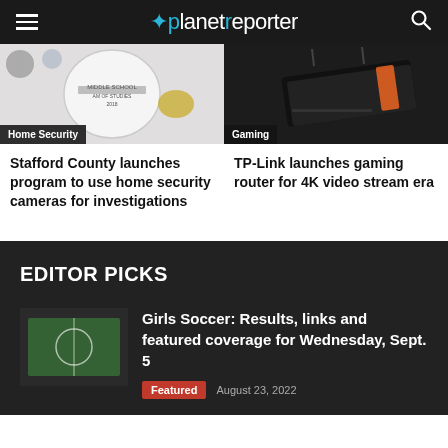planetreporter
[Figure (photo): Home security related image showing what appears to be a middle school program seal and other items]
[Figure (photo): Gaming router - TP-Link dark colored router with orange accent on dark background]
Home Security
Gaming
Stafford County launches program to use home security cameras for investigations
TP-Link launches gaming router for 4K video stream era
EDITOR PICKS
[Figure (photo): Thumbnail image for Girls Soccer article]
Girls Soccer: Results, links and featured coverage for Wednesday, Sept. 5
Featured
August 23, 2022